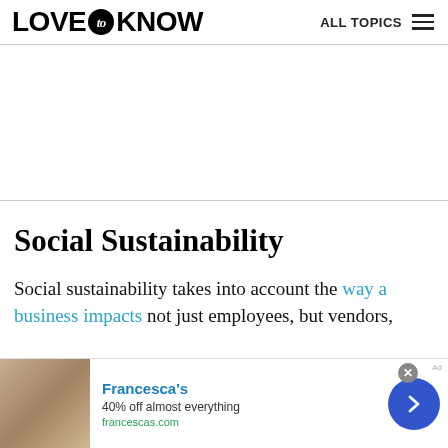LOVE to KNOW   ALL TOPICS
Social Sustainability
Social sustainability takes into account the way a business impacts not just employees, but vendors,
[Figure (photo): Bottom advertisement banner for Francesca's: '40% off almost everything' at francescas.com, with photo of women and navigation arrow button.]